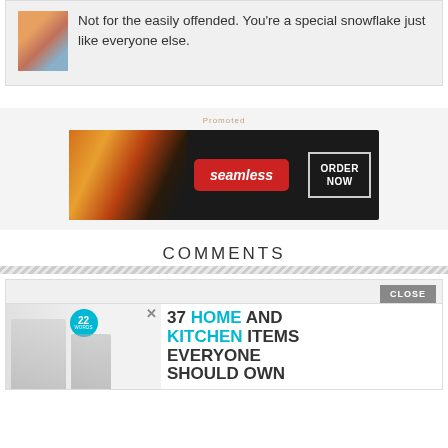Not for the easily offended. You're a special snowflake just like everyone else.
[Figure (screenshot): Seamless food delivery advertisement banner showing pizza and 'ORDER NOW' button]
COMMENTS
[Figure (screenshot): Advertisement: 37 HOME AND KITCHEN ITEMS EVERYONE SHOULD OWN, with CLOSE button overlay]